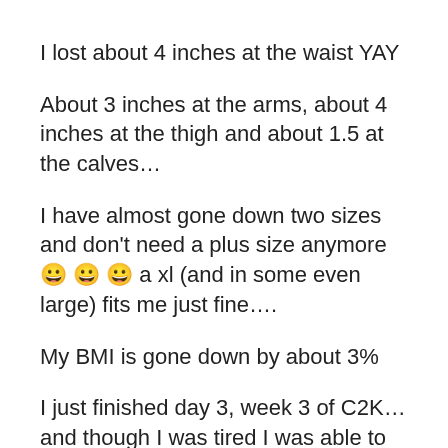I lost about 4 inches at the waist YAY
About 3 inches at the arms, about 4 inches at the thigh and about 1.5 at the calves…
I have almost gone down two sizes and don't need a plus size anymore 😀 😀 😀 a xl (and in some even large) fits me just fine….
My BMI is gone down by about 3%
I just finished day 3, week 3 of C2K… and though I was tired I was able to do it!!! and I cant tell you how happy I am… when I started working out I couldnt walk on the treadmill without huffing and puffing for 20 mins and now I am almost running for 20 mins and thats huge for me…
I remember about 8 months I wasn't really able to climb